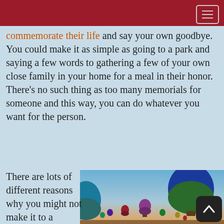commemorate their life and say your own goodbye. You could make it as simple as going to a park and saying a few words to gathering a few of your own close family in your home for a meal in their honor. There's no such thing as too many memorials for someone and this way, you can do whatever you want for the person.
There are lots of different reasons why you might not make it to a memorial
[Figure (photo): Hot air balloons floating in a sky at sunset/dusk, with multiple colorful balloons visible including a prominent blue and green one in the foreground.]